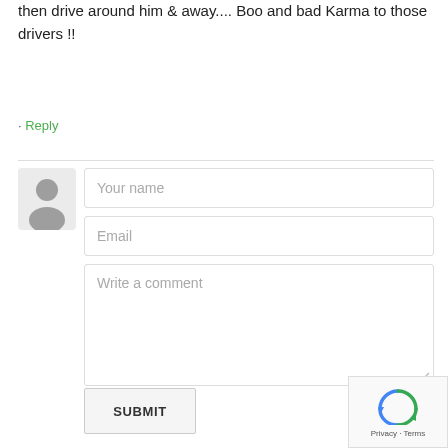then drive around him & away.... Boo and bad Karma to those drivers !!
· Reply
[Figure (other): User avatar placeholder with gray silhouette icon]
Your name
Email
Write a comment
SUBMIT
[Figure (other): reCAPTCHA widget showing Privacy - Terms]